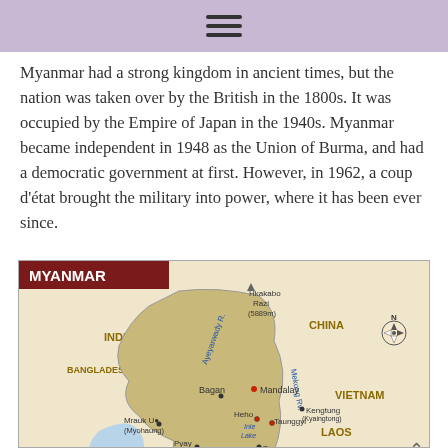≡
Myanmar had a strong kingdom in ancient times, but the nation was taken over by the British in the 1800s. It was occupied by the Empire of Japan in the 1940s. Myanmar became independent in 1948 as the Union of Burma, and had a democratic government at first. However, in 1962, a coup d'état brought the military into power, where it has been ever since.
[Figure (map): Map of Myanmar showing neighboring countries (India, Bangladesh, China, Vietnam, Laos, Thailand), major cities (Mandalay, Yangon/Rangoon, Bagan, Mrauk U/Myohaung, Pyay/Prome, Pathein/Bassein, Heho, Taunggy, Kengtung/Kyaingtong, Taungoo, Bago/Pega, Thaton, Mawlamyine/Moulmein), geographic features (Ayeyarwady River, Mekong River, Inle Lake, Bay of Bengal, Hkakabo Razi 5889m), and a scale bar (0-200 km, 0-120 miles). The map title is MYANMAR in white text on a dark red background.]